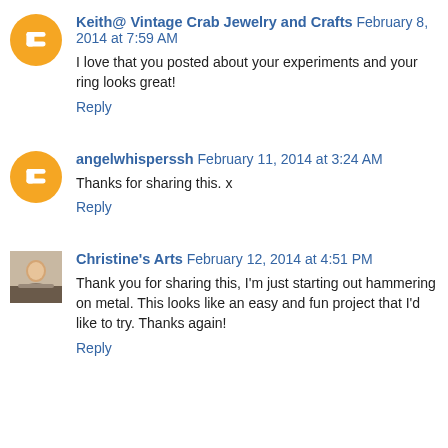Keith@ Vintage Crab Jewelry and Crafts February 8, 2014 at 7:59 AM
I love that you posted about your experiments and your ring looks great!
Reply
angelwhisperssh February 11, 2014 at 3:24 AM
Thanks for sharing this. x
Reply
Christine's Arts February 12, 2014 at 4:51 PM
Thank you for sharing this, I'm just starting out hammering on metal. This looks like an easy and fun project that I'd like to try. Thanks again!
Reply